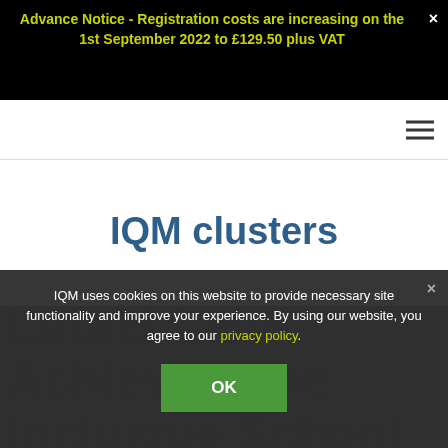Advance Notice - Registration costs are increasing on the 1st September 2022 to £129.50 plus VAT
IQM clusters
IQM uses cookies on this website to provide necessary site functionality and improve your experience. By using our website, you agree to our privacy policy.
OK
Laurel Lane Achieves The Inclusive School